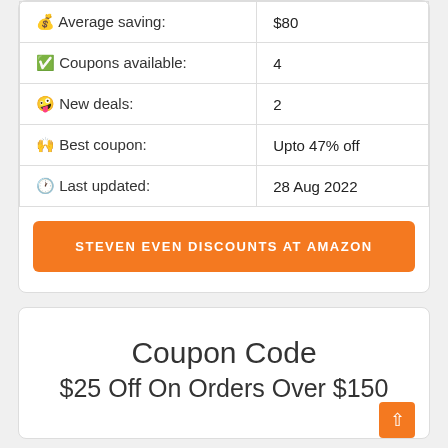| Label | Value |
| --- | --- |
| 💰 Average saving: | $80 |
| ✅ Coupons available: | 4 |
| 🤪 New deals: | 2 |
| 🙌 Best coupon: | Upto 47% off |
| 🕐 Last updated: | 28 Aug 2022 |
STEVEN EVEN DISCOUNTS AT AMAZON
Coupon Code
$25 Off On Orders Over $150